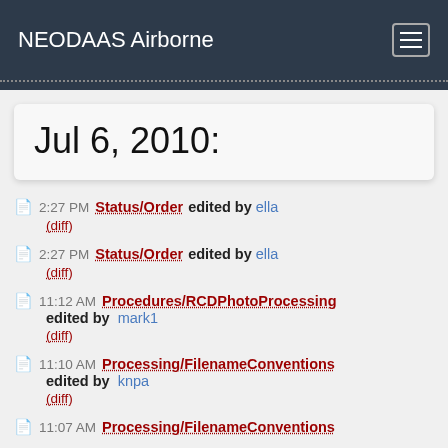NEODAAS Airborne
Jul 6, 2010:
2:27 PM Status/Order edited by ella (diff)
2:27 PM Status/Order edited by ella (diff)
11:12 AM Procedures/RCDPhotoProcessing edited by mark1 (diff)
11:10 AM Processing/FilenameConventions edited by knpa (diff)
11:07 AM Processing/FilenameConventions